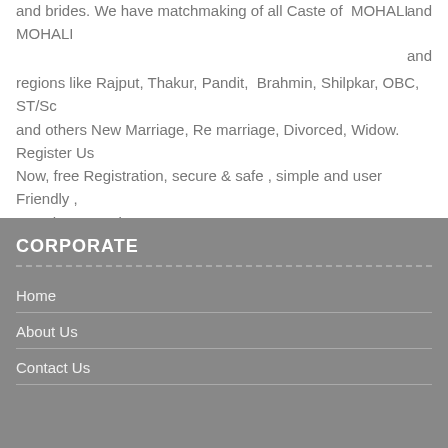and brides. We have matchmaking of all Caste of  MOHALI and MOHALI and regions like Rajput, Thakur, Pandit,  Brahmin, Shilpkar, OBC, ST/Sc and others New Marriage, Re marriage, Divorced, Widow. Register Us Now, free Registration, secure & safe , simple and user Friendly , search now and contact .
CORPORATE
Home
About Us
Contact Us